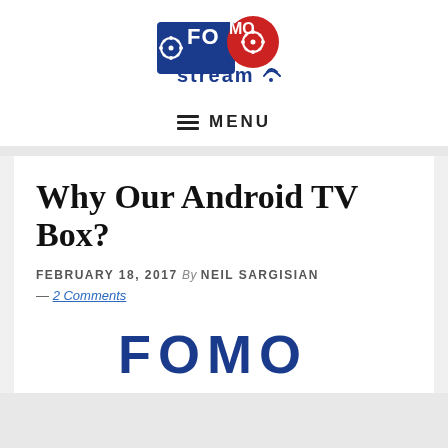[Figure (logo): FOMO Stream logo — stylized text with film reel and wifi/stream icons in blue and red]
MENU
Why Our Android TV Box?
FEBRUARY 18, 2017 By NEIL SARGISIAN — 2 Comments
[Figure (logo): Partial FOMO Stream logo at bottom of article card, large blue bold text]